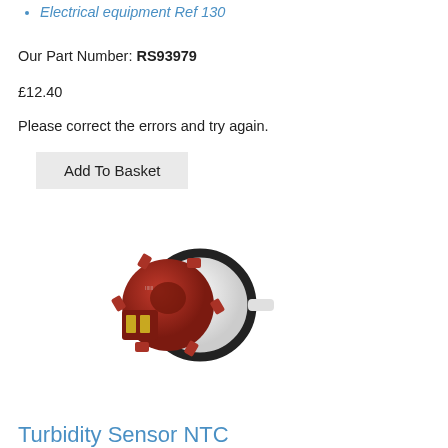Electrical equipment Ref 130
Our Part Number: RS93979
£12.40
Please correct the errors and try again.
Add To Basket
[Figure (photo): A turbidity sensor / NTC component with a dark red/brown plastic housing featuring a multi-pin electrical connector, mounted on a white cylindrical body with a black rubber seal ring.]
Turbidity Sensor NTC